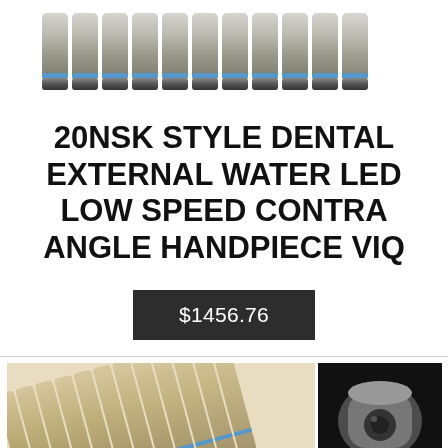[Figure (photo): Row of dental handpieces viewed from above, metallic silver/gold color, approximately 10 units lined up]
20NSK STYLE DENTAL EXTERNAL WATER LED LOW SPEED CONTRA ANGLE HANDPIECE VIQ
$1456.76
[Figure (photo): Two rows of product thumbnail images. Top row: multiple dental contra angle handpieces grouped together (gold/silver metallic) and a close-up of the handpiece tip (dark background). Bottom row: similar group of handpieces and another close-up detail (lighter with pink/red border).]